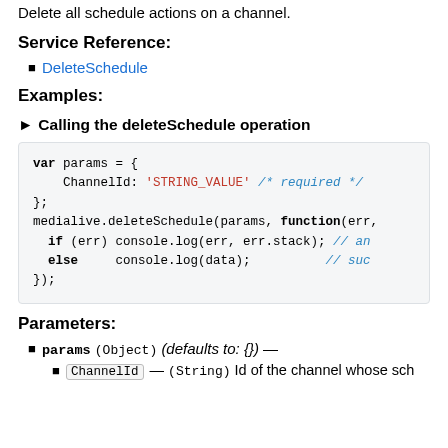Delete all schedule actions on a channel.
Service Reference:
DeleteSchedule
Examples:
► Calling the deleteSchedule operation
[Figure (screenshot): Code block showing JavaScript example: var params = { ChannelId: 'STRING_VALUE' /* required */ }; medialive.deleteSchedule(params, function(err, ... if (err) console.log(err, err.stack); // an... else console.log(data); // suc... });]
Parameters:
params (Object) (defaults to: {}) —
ChannelId — (String) Id of the channel whose sch...